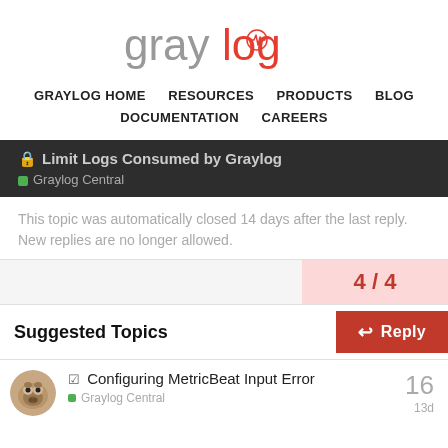[Figure (logo): Graylog logo with gray 'gray' and red 'log' text and a red heartbeat icon]
GRAYLOG HOME   RESOURCES   PRODUCTS   BLOG   DOCUMENTATION   CAREERS
🔒 Limit Logs Consumed by Graylog
Graylog Central
This topic was automatically closed 14 days after the last reply. New replies are no longer allowed.
4 / 4
Suggested Topics
Reply
☑ Configuring MetricBeat Input Error
Graylog Central
16
13d